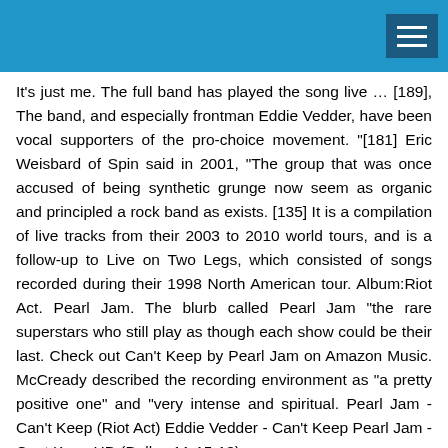It's just me. The full band has played the song live … [189], The band, and especially frontman Eddie Vedder, have been vocal supporters of the pro-choice movement. "[181] Eric Weisbard of Spin said in 2001, "The group that was once accused of being synthetic grunge now seem as organic and principled a rock band as exists. [135] It is a compilation of live tracks from their 2003 to 2010 world tours, and is a follow-up to Live on Two Legs, which consisted of songs recorded during their 1998 North American tour. Album:Riot Act. Pearl Jam. The blurb called Pearl Jam "the rare superstars who still play as though each show could be their last. Check out Can't Keep by Pearl Jam on Amazon Music. McCready described the recording environment as "a pretty positive one" and "very intense and spiritual. Pearl Jam - Can't Keep (Riot Act) Eddie Vedder - Can't Keep Pearl Jam - Cant Keep HD (Dallas 11-15-13)